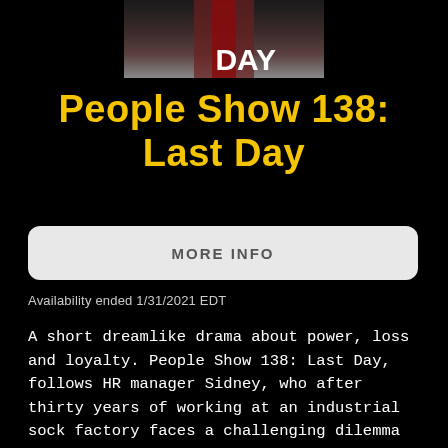[Figure (photo): Partial thumbnail image showing the word DAY in white bold text on a dark/reddish background — the top portion of a movie/show poster for People Show 138: Last Day]
People Show 138: Last Day
MORE INFO
Availability ended 1/31/2021 EDT
A short dreamlike drama about power, loss and loyalty. People Show 138: Last Day, follows HR manager Sidney, who after thirty years of working at an industrial sock factory faces a challenging dilemma that could affect the livelihood of his employees. We find him wandering around the now empty workplace haunted by the memories of his past colleagues, friends and bosses. Throughout his journey he is